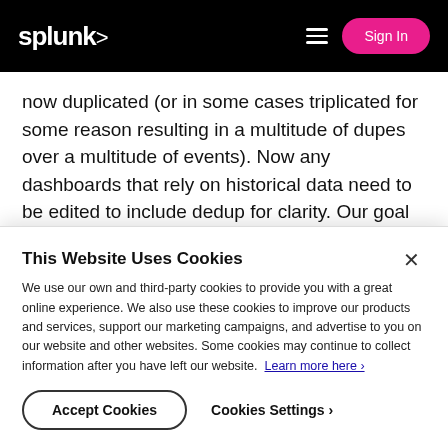splunk> Sign In
now duplicated (or in some cases triplicated for some reason resulting in a multitude of dupes over a multitude of events). Now any dashboards that rely on historical data need to be edited to include dedup for clarity. Our goal is to use |delete for the events so they are by default not searched.
The why's and wherefore's of HOW the data came to
This Website Uses Cookies
We use our own and third-party cookies to provide you with a great online experience. We also use these cookies to improve our products and services, support our marketing campaigns, and advertise to you on our website and other websites. Some cookies may continue to collect information after you have left our website. Learn more here ›
Accept Cookies
Cookies Settings ›